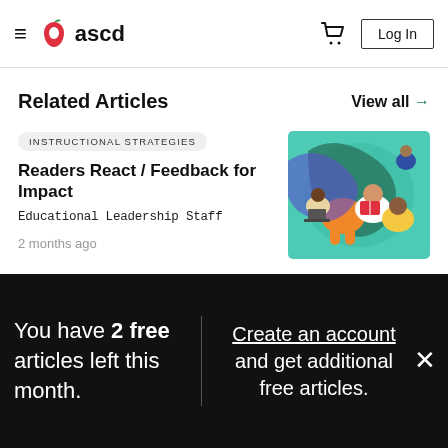ascd
Related Articles
View all →
INSTRUCTIONAL STRATEGIES
Readers React / Feedback for Impact
Educational Leadership Staff
2 months ago
[Figure (illustration): Colorful illustration of diverse people reading and learning together on a teal background]
You have 2 free articles left this month.
Create an account and get additional free articles.